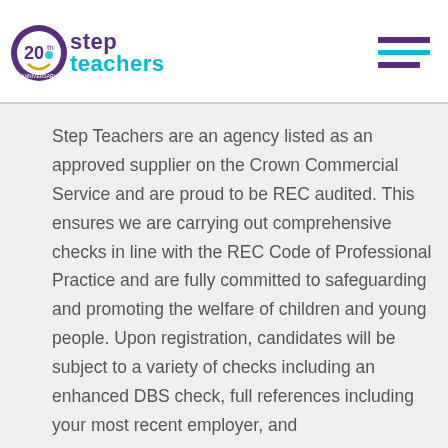[Figure (logo): Step Teachers 20th anniversary logo with circular emblem on left and 'step teachers' text in purple and cyan on right]
Step Teachers are an agency listed as an approved supplier on the Crown Commercial Service and are proud to be REC audited. This ensures we are carrying out comprehensive checks in line with the REC Code of Professional Practice and are fully committed to safeguarding and promoting the welfare of children and young people. Upon registration, candidates will be subject to a variety of checks including an enhanced DBS check, full references including your most recent employer, and